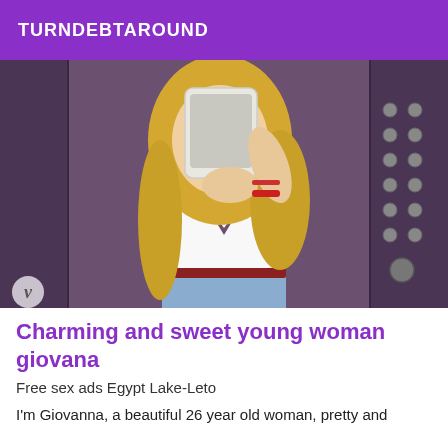TURNDEBTAROUND
[Figure (photo): A young blonde woman taking a mirror selfie in an elevator, wearing a white bodysuit with cutouts and denim shorts with a red belt. She holds a smartphone up covering her face. Elevator buttons visible on right side. Watermark 'v' in bottom left.]
Charming and sweet young woman giovana
Free sex ads Egypt Lake-Leto
I'm Giovanna, a beautiful 26 year old woman, pretty and